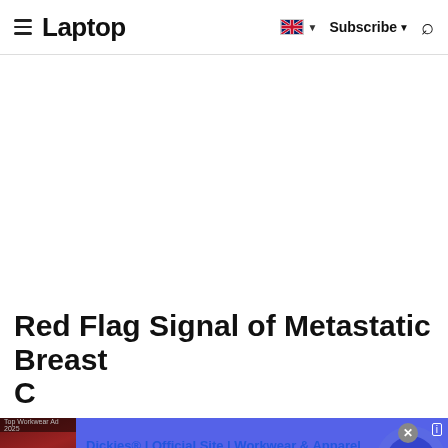Laptop — Subscribe
[Figure (screenshot): Empty white content area where an advertisement or image would appear]
Red Flag Signal of Metastatic Breast C…
[Figure (screenshot): Ad banner: Dickies® | Official Site | Workwear & Apparel — for work pants, work shirts, overalls, and coveralls. www.dickies.com — with a thumbnail of dark red leather furniture and a circular arrow button]